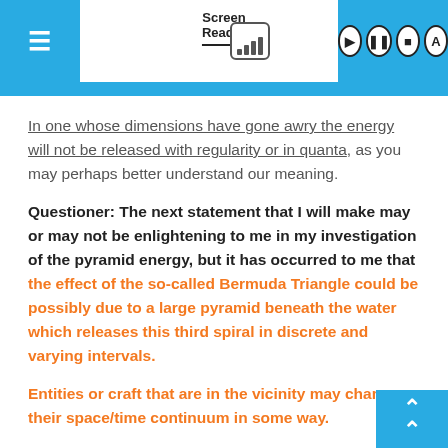Screen Reader
In one whose dimensions have gone awry the energy will not be released with regularity or in quanta, as you may perhaps better understand our meaning.
Questioner: The next statement that I will make may or may not be enlightening to me in my investigation of the pyramid energy, but it has occurred to me that the effect of the so-called Bermuda Triangle could be possibly due to a large pyramid beneath the water which releases this third spiral in discrete and varying intervals.
Entities or craft that are in the vicinity may change their space/time continuum in some way.